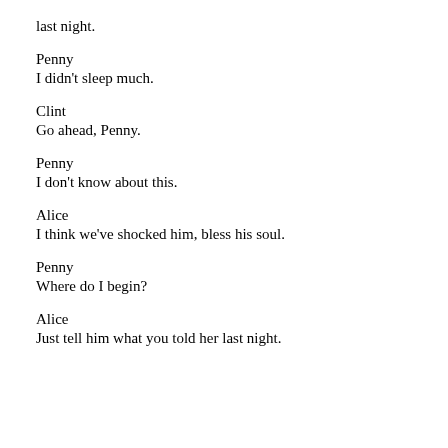last night.
Penny
I didn't sleep much.
Clint
Go ahead, Penny.
Penny
I don't know about this.
Alice
I think we've shocked him, bless his soul.
Penny
Where do I begin?
Alice
Just tell him what you told her last night.